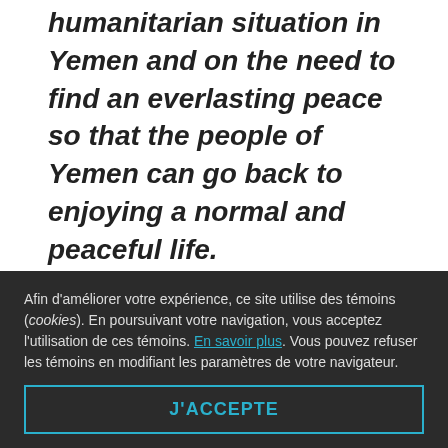humanitarian situation in Yemen and on the need to find an everlasting peace so that the people of Yemen can go back to enjoying a normal and peaceful life.
We support the National Society to get recognition of its work and access support from different countries,
Afin d'améliorer votre expérience, ce site utilise des témoins (cookies). En poursuivant votre navigation, vous acceptez l'utilisation de ces témoins. En savoir plus. Vous pouvez refuser les témoins en modifiant les paramètres de votre navigateur.
J'ACCEPTE